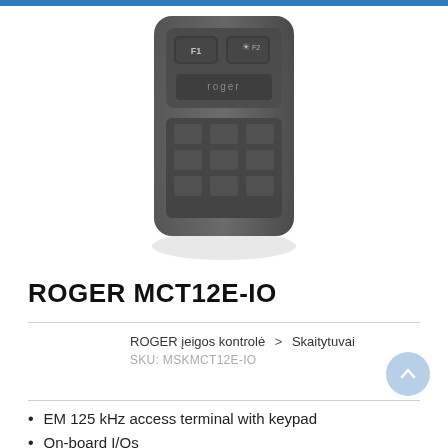[Figure (photo): ROGER MCT12E-IO device — dark grey access terminal/reader with keypad, showing top portion of the device with buttons labeled F1, F2, and a Roger logo.]
ROGER MCT12E-IO
ROGER įeigos kontrolė > Skaitytuvai
SKU: MSKMCT12E-IO
EM 125 kHz access terminal with keypad
On-board I/Os